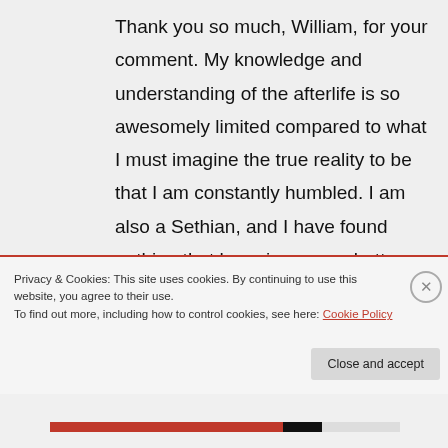Thank you so much, William, for your comment. My knowledge and understanding of the afterlife is so awesomely limited compared to what I must imagine the true reality to be that I am constantly humbled. I am also a Sethian, and I have found nothing that has given me a better understanding of the nature of reality than his books did – they are a wonderful resource that I hope more people discover. Its not easy reading for sure, but it
Privacy & Cookies: This site uses cookies. By continuing to use this website, you agree to their use.
To find out more, including how to control cookies, see here: Cookie Policy